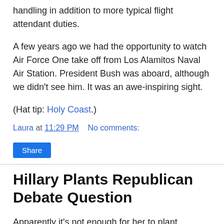handling in addition to more typical flight attendant duties.
A few years ago we had the opportunity to watch Air Force One take off from Los Alamitos Naval Air Station. President Bush was aboard, although we didn't see him. It was an awe-inspiring sight.
(Hat tip: Holy Coast.)
Laura at 11:29 PM    No comments:
Share
Hillary Plants Republican Debate Question
Apparently it's not enough for her to plant questions at her own "town hall" forums...
More from Instapundit.